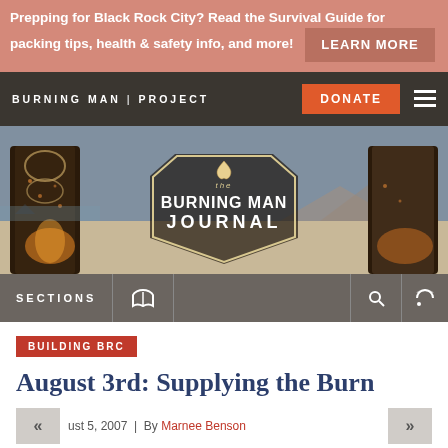Prepping for Black Rock City? Read the Survival Guide for packing tips, health & safety info, and more! LEARN MORE
[Figure (screenshot): Burning Man Project navigation bar with logo, DONATE button, and hamburger menu]
[Figure (photo): The Burning Man Journal hero banner with decorative metal artwork and desert landscape in the background]
SECTIONS
BUILDING BRC
August 3rd: Supplying the Burn
August 5, 2007  |  By Marnee Benson